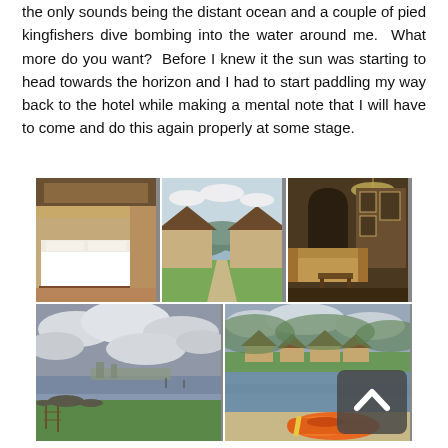the only sounds being the distant ocean and a couple of pied kingfishers dive bombing into the water around me.  What more do you want?  Before I knew it the sun was starting to head towards the horizon and I had to start paddling my way back to the hotel while making a mental note that I will have to come and do this again properly at some stage.
[Figure (photo): A collage of five hotel/lodge photos: top row shows a bedroom with white bedding, a walkway between thatched-roof buildings with water and hills in background, and a lounge/living room interior; bottom row shows a cloudy waterfront landscape with green fields and a distant town, and a river/estuary view with thatched lodge buildings on far bank and an orange kayak in the foreground. A scroll-up button is overlaid on the bottom-right photo.]